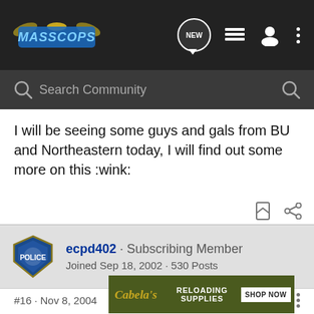[Figure (screenshot): MassCops forum website header navigation bar with logo, NEW chat bubble, list icon, user icon, and three-dot menu on dark background]
Search Community
I will be seeing some guys and gals from BU and Northeastern today, I will find out some more on this :wink:
ecpd402 · Subscribing Member
Joined Sep 18, 2002 · 530 Posts
#16 · Nov 8, 2004
RPD the MSSPO had no TC
[Figure (screenshot): Cabela's ad banner: RELOADING SUPPLIES SHOP NOW on olive/dark green background]